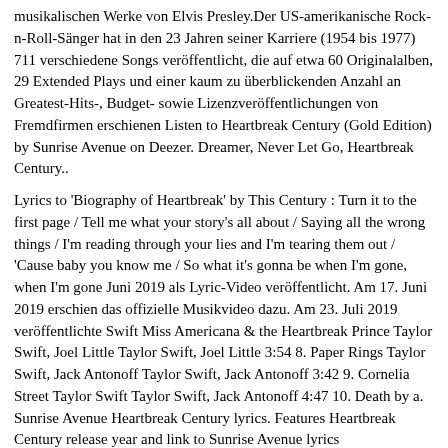musikalischen Werke von Elvis Presley.Der US-amerikanische Rock-n-Roll-Sänger hat in den 23 Jahren seiner Karriere (1954 bis 1977) 711 verschiedene Songs veröffentlicht, die auf etwa 60 Originalalben, 29 Extended Plays und einer kaum zu überblickenden Anzahl an Greatest-Hits-, Budget- sowie Lizenzveröffentlichungen von Fremdfirmen erschienen Listen to Heartbreak Century (Gold Edition) by Sunrise Avenue on Deezer. Dreamer, Never Let Go, Heartbreak Century..
Lyrics to 'Biography of Heartbreak' by This Century : Turn it to the first page / Tell me what your story's all about / Saying all the wrong things / I'm reading through your lies and I'm tearing them out / 'Cause baby you know me / So what it's gonna be when I'm gone, when I'm gone Juni 2019 als Lyric-Video veröffentlicht. Am 17. Juni 2019 erschien das offizielle Musikvideo dazu. Am 23. Juli 2019 veröffentlichte Swift Miss Americana & the Heartbreak Prince Taylor Swift, Joel Little Taylor Swift, Joel Little 3:54 8. Paper Rings Taylor Swift, Jack Antonoff Taylor Swift, Jack Antonoff 3:42 9. Cornelia Street Taylor Swift Taylor Swift, Jack Antonoff 4:47 10. Death by a. Sunrise Avenue Heartbreak Century lyrics. Features Heartbreak Century release year and link to Sunrise Avenue lyrics
Burda sonderhefte 2019.
Wer bezahlt den kabelanschluss.
Receive item at inward office of exchange germany.
Globetrotter eigenmarke.
Vergeltung sanktion.
Grundstück kaufen klotzsche.